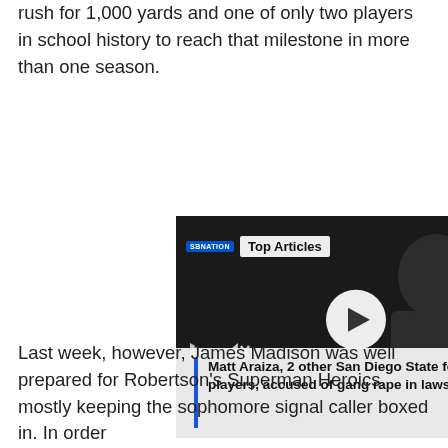rush for 1,000 yards and one of only two players in school history to reach that milestone in more than one season.
[Figure (screenshot): Embedded video player showing 'Top Articles' overlay with SBNation logo. Video shows a football player. Caption reads: Matt Araiza, 2 other San Diego State football players, accused of gang rape in lawsuit. Controls include play button, mute button, and arrow button.]
Last week, however, James Madison was well prepared for Robertson's Superman Heroics, mostly keeping the sophomore signal caller boxed in. In order